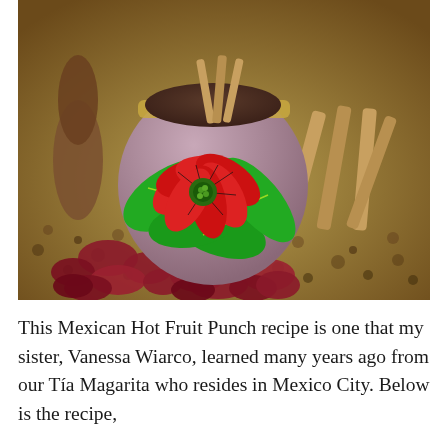[Figure (photo): A decorative clay pot painted with a red poinsettia flower and green leaves, filled with a dark drink and cinnamon sticks, surrounded by dried red hibiscus (jamaica) flowers and cinnamon sticks on a textured surface.]
This Mexican Hot Fruit Punch recipe is one that my sister, Vanessa Wiarco, learned many years ago from our Tía Magarita who resides in Mexico City. Below is the recipe,